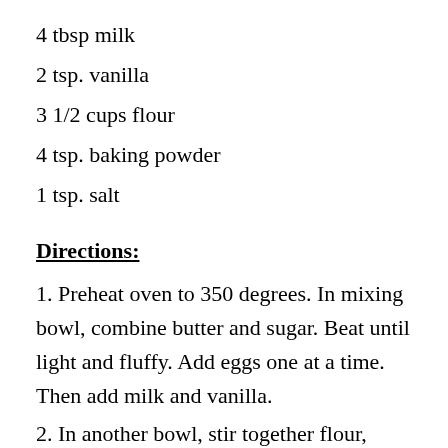4 tbsp milk
2 tsp. vanilla
3 1/2 cups flour
4 tsp. baking powder
1 tsp. salt
Directions:
1. Preheat oven to 350 degrees. In mixing bowl, combine butter and sugar. Beat until light and fluffy. Add eggs one at a time. Then add milk and vanilla.
2. In another bowl, stir together flour, baking powder and salt.
3.Add flour mixture to butter mixture gradually. Beat until mixed to form soft dough.
4. Roll dough into 1.5 inch balls.
5. Flatten with a fork and bake  in 325 oven for 8-10